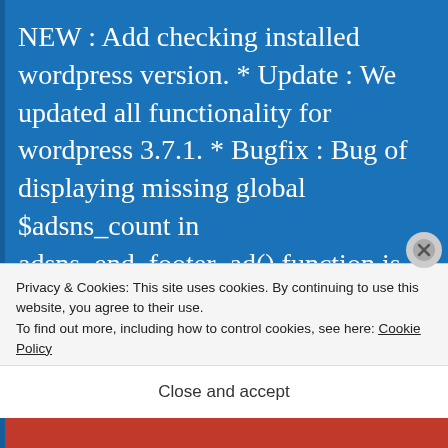NEW : Add checking installed wordpress version. * Update : We updated all functionality for wordpress 3.7.1. * Bugfix : Bug of displaying missing global $adsns_count in adsns_end_footer_ad() function is fixed. = V1.24 - 11.10.2013 = * NEW : The Turkish language file is added to the plugin. * NEW : Added an ability to use plugin when ad client id
Privacy & Cookies: This site uses cookies. By continuing to use this website, you agree to their use.
To find out more, including how to control cookies, see here: Cookie Policy
Close and accept